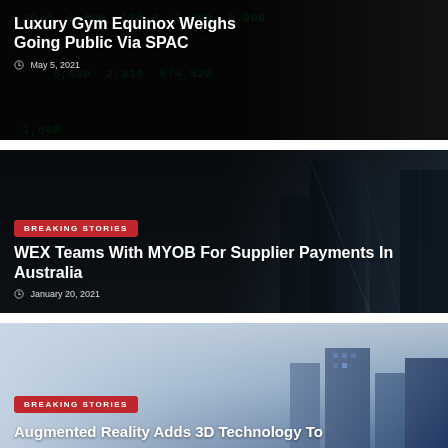[Figure (photo): Stock market ticker display with green and red numbers, dark background. Overlay shows article title and date.]
Luxury Gym Equinox Weighs Going Public Via SPAC
May 5, 2021
[Figure (photo): Looking up at modern glass skyscrapers against dark sky. Breaking Stories badge, article title and date overlaid.]
BREAKING STORIES
WEX Teams With MYOB For Supplier Payments In Australia
January 20, 2021
[Figure (photo): City skyline with blue tones and buildings. Breaking Stories badge and partial article title visible.]
BREAKING STORIES
Augmented Reality Adds 3D Technology To